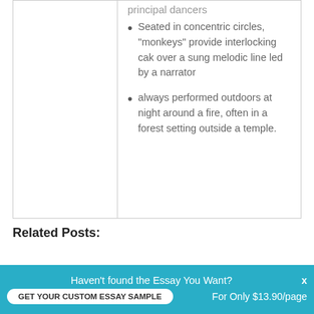principal dancers
Seated in concentric circles, “monkeys” provide interlocking cak over a sung melodic line led by a narrator
always performed outdoors at night around a fire, often in a forest setting outside a temple.
Related Posts:
Haven't found the Essay You Want?
GET YOUR CUSTOM ESSAY SAMPLE
For Only $13.90/page